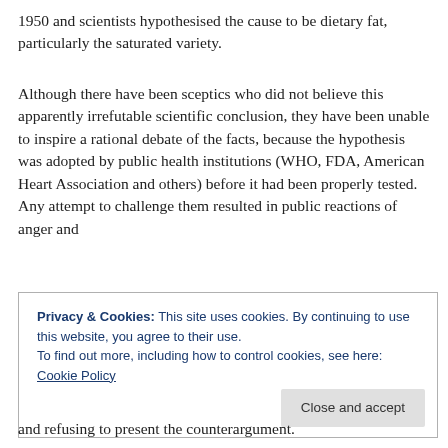1950 and scientists hypothesised the cause to be dietary fat, particularly the saturated variety.
Although there have been sceptics who did not believe this apparently irrefutable scientific conclusion, they have been unable to inspire a rational debate of the facts, because the hypothesis was adopted by public health institutions (WHO, FDA, American Heart Association and others) before it had been properly tested. Any attempt to challenge them resulted in public reactions of anger and
Privacy & Cookies: This site uses cookies. By continuing to use this website, you agree to their use. To find out more, including how to control cookies, see here: Cookie Policy
and refusing to present the counterargument.